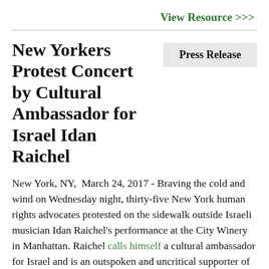View Resource >>>
New Yorkers Protest Concert by Cultural Ambassador for Israel Idan Raichel
Press Release
New York, NY,  March 24, 2017 - Braving the cold and wind on Wednesday night, thirty-five New York human rights advocates protested on the sidewalk outside Israeli musician Idan Raichel’s performance at the City Winery in Manhattan. Raichel calls himself a cultural ambassador for Israel and is an outspoken and uncritical supporter of the Israeli army. Raichel regularly performs at Israeli government events as part of the government’s